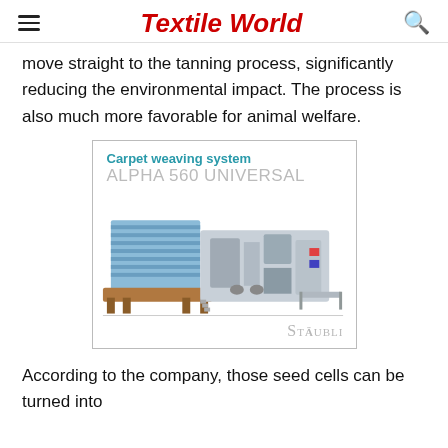Textile World
move straight to the tanning process, significantly reducing the environmental impact. The process is also much more favorable for animal welfare.
[Figure (illustration): Advertisement for Stäubli carpet weaving system ALPHA 560 UNIVERSAL, showing a large industrial weaving machine with fabric rolls and mechanical components. Title reads 'Carpet weaving system' in teal bold, 'ALPHA 560 UNIVERSAL' in light gray, and 'STÄUBLI' brand logo at bottom right in gray.]
According to the company, those seed cells can be turned into